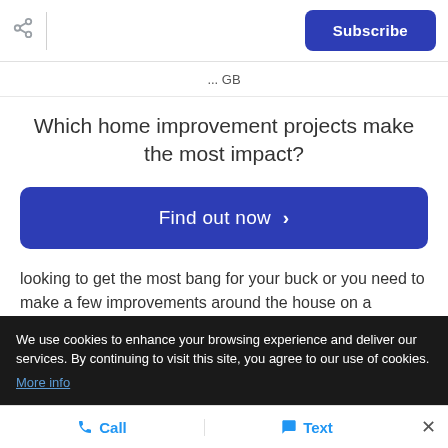Subscribe
... GB
Which home improvement projects make the most impact?
Find out now >
looking to get the most bang for your buck or you need to make a few improvements around the house on a budget, this blog is for you. If you're anything like us
We use cookies to enhance your browsing experience and deliver our services. By continuing to visit this site, you agree to our use of cookies. More info
Call  Text